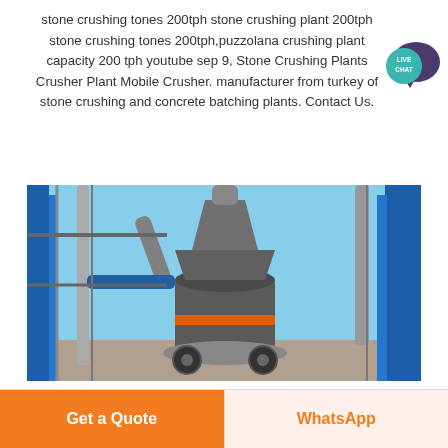stone crushing tones 200tph stone crushing plant 200tph stone crushing tones 200tph,puzzolana crushing plant capacity 200 tph youtube sep 9, Stone Crushing Plants Crusher Plant Mobile Crusher. manufacturer from turkey of stone crushing and concrete batching plants. Contact Us.
[Figure (photo): Industrial stone crushing plant equipment — a large cylindrical crusher machine with pipes and blue steel framework structures under a clear blue sky.]
Get a Quote
WhatsApp